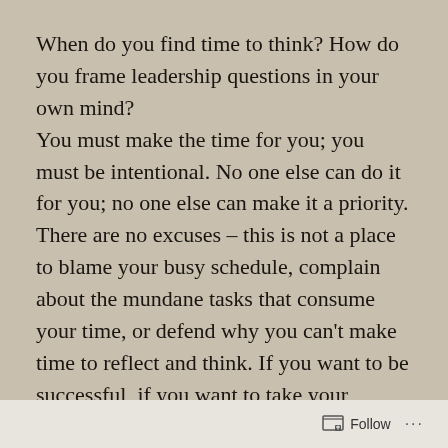When do you find time to think? How do you frame leadership questions in your own mind?
You must make the time for you; you must be intentional. No one else can do it for you; no one else can make it a priority. There are no excuses – this is not a place to blame your busy schedule, complain about the mundane tasks that consume your time, or defend why you can't make time to reflect and think. If you want to be successful, if you want to take your leadership to the next level, you MUST protect time for thought and reflection.
You control your 20 square feet . . . only you
Follow ···